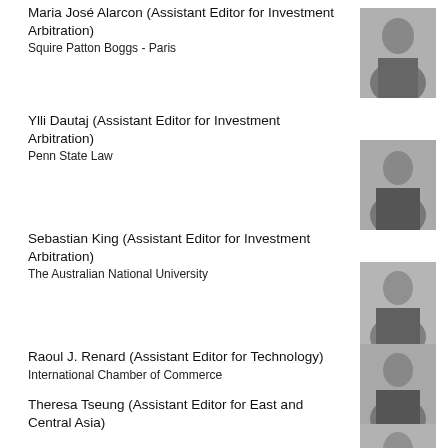Maria José Alarcon (Assistant Editor for Investment Arbitration)
Squire Patton Boggs - Paris
[Figure (photo): Grayscale professional headshot of Maria José Alarcon]
Ylli Dautaj (Assistant Editor for Investment Arbitration)
Penn State Law
[Figure (photo): Grayscale professional headshot of Ylli Dautaj]
Sebastian King (Assistant Editor for Investment Arbitration)
The Australian National University
[Figure (photo): Grayscale professional headshot of Sebastian King]
Raoul J. Renard (Assistant Editor for Technology)
International Chamber of Commerce
[Figure (photo): Grayscale professional headshot of Raoul J. Renard]
Theresa Tseung (Assistant Editor for East and Central Asia)
[Figure (photo): Grayscale professional headshot of Theresa Tseung]